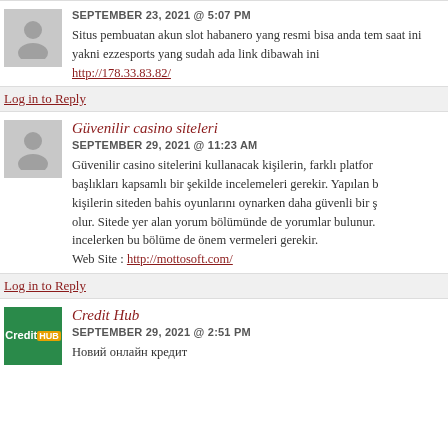SEPTEMBER 23, 2021 @ 5:07 PM
Situs pembuatan akun slot habanero yang resmi bisa anda temukan saat ini yakni ezzesports yang sudah ada link dibawah ini http://178.33.83.82/
Log in to Reply
Güvenilir casino siteleri
SEPTEMBER 29, 2021 @ 11:23 AM
Güvenilir casino sitelerini kullanacak kişilerin, farklı platform başlıkları kapsamlı bir şekilde incelemeleri gerekir. Yapılan b kişilerin siteden bahis oyunlarını oynarken daha güvenli bir ş olur. Sitede yer alan yorum bölümünde de yorumlar bulunur. incelerken bu bölüme de önem vermeleri gerekir.
Web Site : http://mottosoft.com/
Log in to Reply
Credit Hub
SEPTEMBER 29, 2021 @ 2:51 PM
Новий онлайн кредит